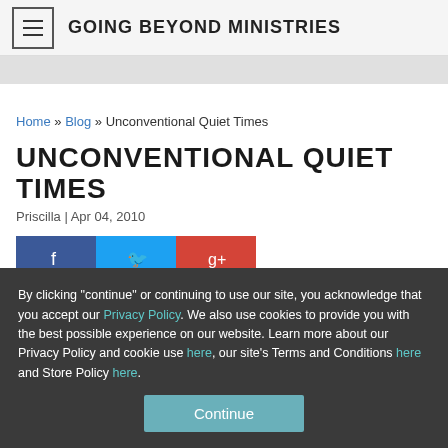GOING BEYOND MINISTRIES
Home » Blog » Unconventional Quiet Times
UNCONVENTIONAL QUIET TIMES
Priscilla | Apr 04, 2010
[Figure (other): Social share buttons: Facebook, Twitter, Google+]
By clicking "continue" or continuing to use our site, you acknowledge that you accept our Privacy Policy. We also use cookies to provide you with the best possible experience on our website. Learn more about our Privacy Policy and cookie use here, our site's Terms and Conditions here and Store Policy here.